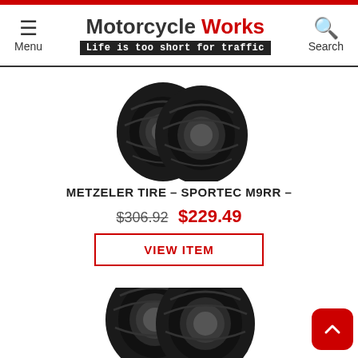Motorcycle Works — Life is too short for traffic
[Figure (photo): Two black motorcycle tires (front and rear) photographed together on a white background — Metzeler Sportec M9RR tires]
METZELER TIRE – SPORTEC M9RR –
$306.92 $229.49
VIEW ITEM
[Figure (photo): Two black motorcycle tires photographed together, partially visible at the bottom of the page]